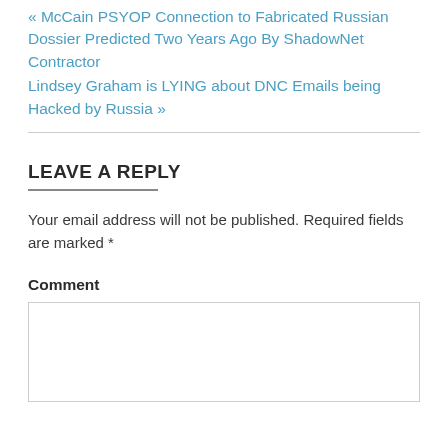« McCain PSYOP Connection to Fabricated Russian Dossier Predicted Two Years Ago By ShadowNet Contractor
Lindsey Graham is LYING about DNC Emails being Hacked by Russia »
LEAVE A REPLY
Your email address will not be published. Required fields are marked *
Comment